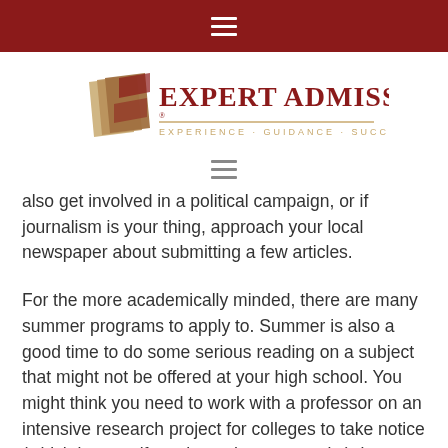Expert Admissions — navigation bar
[Figure (logo): Expert Admissions logo with stylized 'EA' icon and text 'EXPERT ADMISSIONS / EXPERIENCE · GUIDANCE · SUCCESS']
also get involved in a political campaign, or if journalism is your thing, approach your local newspaper about submitting a few articles.
For the more academically minded, there are many summer programs to apply to. Summer is also a good time to do some serious reading on a subject that might not be offered at your high school. You might think you need to work with a professor on an intensive research project for colleges to take notice (which is great if you have the opportunity), but as long as you're actively